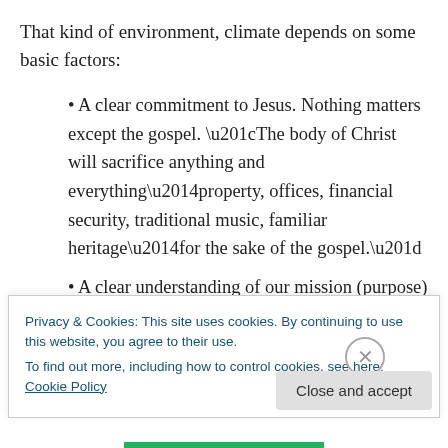That kind of environment, climate depends on some basic factors:
• A clear commitment to Jesus. Nothing matters except the gospel. “The body of Christ will sacrifice anything and everything—property, offices, financial security, traditional music, familiar heritage—for the sake of the gospel.”
• A clear understanding of our mission (purpose)—to
Privacy & Cookies: This site uses cookies. By continuing to use this website, you agree to their use.
To find out more, including how to control cookies, see here: Cookie Policy